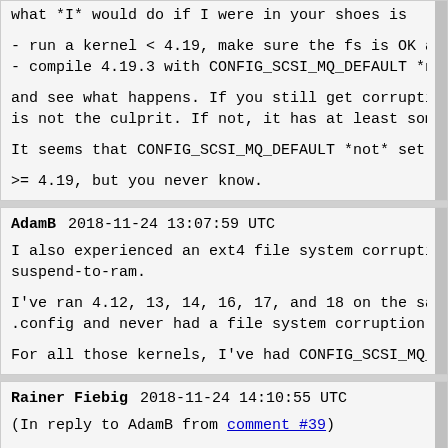what *I* would do if I were in your shoes is

- run a kernel < 4.19, make sure the fs is OK and *b
- compile 4.19.3 with CONFIG_SCSI_MQ_DEFAULT *not* s

and see what happens. If you still get corruption, C
is not the culprit. If not, it has at least somethin

It seems that CONFIG_SCSI_MQ_DEFAULT *not* set was t

Others here obviously don't have problems with CONFI
>= 4.19, but you never know.
AdamB   2018-11-24 13:07:59 UTC

I also experienced an ext4 file system corruption wi
suspend-to-ram.

I've ran 4.12, 13, 14, 16, 17, and 18 on the same ma
.config and never had a file system corruption.

For all those kernels, I've had CONFIG_SCSI_MQ_DEFAU
Rainer Fiebig   2018-11-24 14:10:55 UTC

(In reply to AdamB from comment #39)
> I also experienced an ext4 file system corruptio